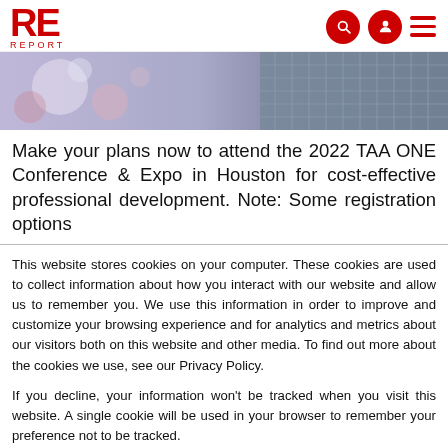RE REPORT — navigation header with logo, search, account, and menu icons
[Figure (photo): Partial hero image showing blurred bokeh lights on left and a glass building facade on right in blue/grey tones]
Make your plans now to attend the 2022 TAA ONE Conference & Expo in Houston for cost-effective professional development. Note: Some registration options
This website stores cookies on your computer. These cookies are used to collect information about how you interact with our website and allow us to remember you. We use this information in order to improve and customize your browsing experience and for analytics and metrics about our visitors both on this website and other media. To find out more about the cookies we use, see our Privacy Policy.
If you decline, your information won't be tracked when you visit this website. A single cookie will be used in your browser to remember your preference not to be tracked.
Accept | Decline (cookie consent buttons)